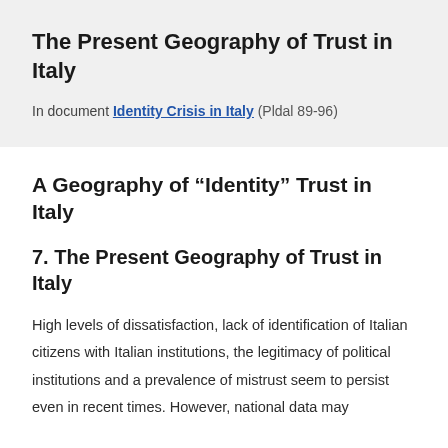The Present Geography of Trust in Italy
In document Identity Crisis in Italy (Pldal 89-96)
A Geography of “Identity” Trust in Italy
7. The Present Geography of Trust in Italy
High levels of dissatisfaction, lack of identification of Italian citizens with Italian institutions, the legitimacy of political institutions and a prevalence of mistrust seem to persist even in recent times. However, national data may